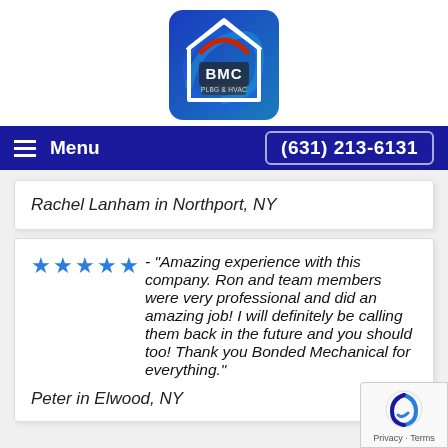[Figure (logo): BMC Plumbing and HVAC logo: blue rounded square with white house outline, swirling blue lines, red arc, and BMC text in white/silver]
Menu  (631) 213-6131
Rachel Lanham in Northport, NY
★★★★★ - "Amazing experience with this company. Ron and team members were very professional and did an amazing job! I will definitely be calling them back in the future and you should too! Thank you Bonded Mechanical for everything."
Peter in Elwood, NY